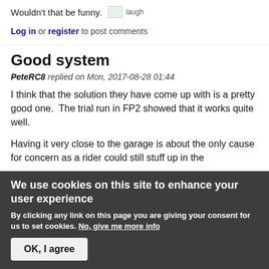Wouldn't that be funny. [laugh]
Log in or register to post comments
Good system
PeteRC8 replied on Mon, 2017-08-28 01:44
I think that the solution they have come up with is a pretty good one.  The trial run in FP2 showed that it works quite well.
Having it very close to the garage is about the only cause for concern as a rider could still stuff up in the
We use cookies on this site to enhance your user experience
By clicking any link on this page you are giving your consent for us to set cookies. No, give me more info
OK, I agree